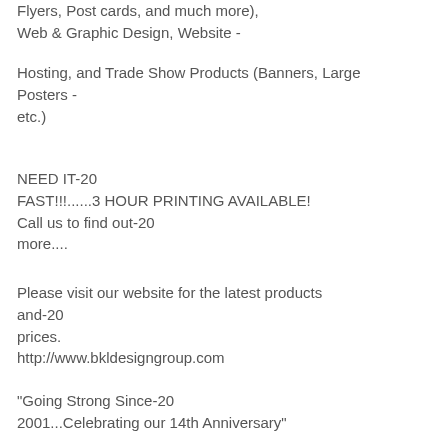Flyers, Post cards, and much more), Web & Graphic Design, Website -
Hosting, and Trade Show Products (Banners, Large Posters - etc.)
NEED IT-20 FAST!!!......3 HOUR PRINTING AVAILABLE! Call us to find out-20 more....
Please visit our website for the latest products and-20 prices. http://www.bkldesigngroup.com
"Going Strong Since-20 2001...Celebrating our 14th Anniversary"